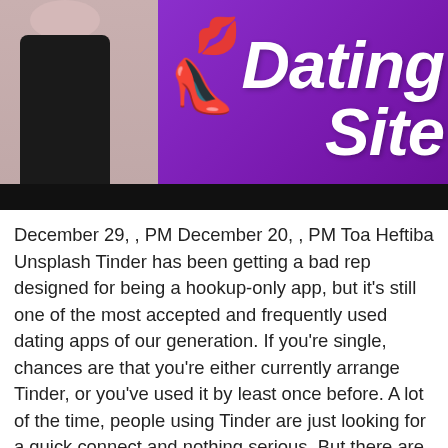[Figure (illustration): Banner image with a woman in black on the left, purple background on the right with 'Dating Site' text in large white italic bold font, red lips emoji and red high heel emoji in the center]
December 29, , PM December 20, , PM Toa Heftiba Unsplash Tinder has been getting a bad rep designed for being a hookup-only app, but it's still one of the most accepted and frequently used dating apps of our generation. If you're single, chances are that you're either currently arrange Tinder, or you've used it by least once before. A lot of the time, people using Tinder are just looking for a quick connect and nothing serious. But there are a lot of people now so as to are actually finding their partners arrange the app. So whether you akin to the idea of meeting your coming someone on Tinder, or you're a minute ago interested in finding a fling, this app really does have something designed for everyone. You just have to